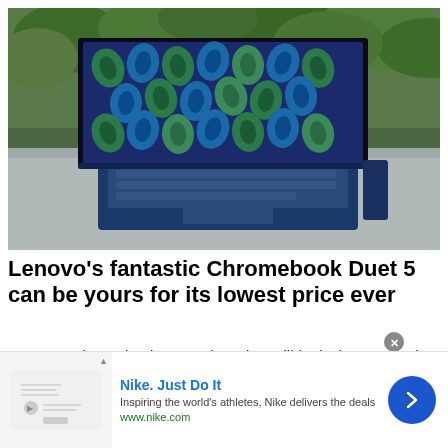[Figure (photo): Lenovo Chromebook Duet 5 laptop open on a stone surface outdoors, with green foliage background. The screen displays a blue and green leaf/ginkgo pattern wallpaper. The device has a blue keyboard base.]
Lenovo's fantastic Chromebook Duet 5 can be yours for its lowest price ever
Lenovo's Chromebook Duet 5 is an incredible device even at its full retail price, but for Prime Day, you can save almo…
Nike. Just Do It
Inspiring the world's athletes, Nike delivers the deals
www.nike.com